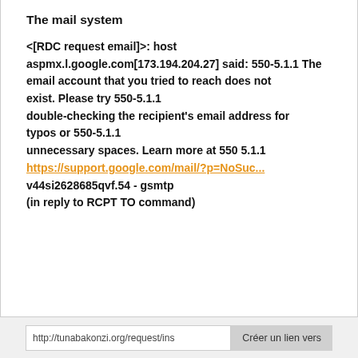The mail system
<[RDC request email]>: host aspmx.l.google.com[173.194.204.27] said: 550-5.1.1 The email account that you tried to reach does not exist. Please try 550-5.1.1 double-checking the recipient's email address for typos or 550-5.1.1 unnecessary spaces. Learn more at 550 5.1.1 https://support.google.com/mail/?p=NoSuc... v44si2628685qvf.54 - gsmtp (in reply to RCPT TO command)
http://tunabakonzi.org/request/ins  Créer un lien vers